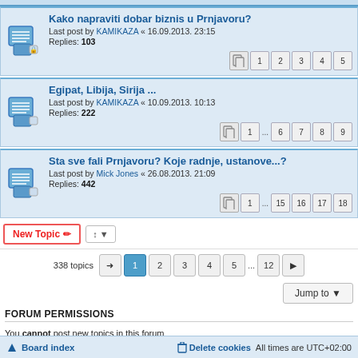Kako napraviti dobar biznis u Prnjavoru? Last post by KAMIKAZA « 16.09.2013. 23:15 Replies: 103 pages: 1 2 3 4 5
Egipat, Libija, Sirija ... Last post by KAMIKAZA « 10.09.2013. 10:13 Replies: 222 pages: 1 ... 6 7 8 9
Sta sve fali Prnjavoru? Koje radnje, ustanove...? Last post by Mick Jones « 26.08.2013. 21:09 Replies: 442 pages: 1 ... 15 16 17 18
338 topics  1 2 3 4 5 ... 12
FORUM PERMISSIONS
You cannot post new topics in this forum
You cannot reply to topics in this forum
You cannot edit your posts in this forum
You cannot delete your posts in this forum
You cannot post attachments in this forum
Board index   Delete cookies   All times are UTC+02:00